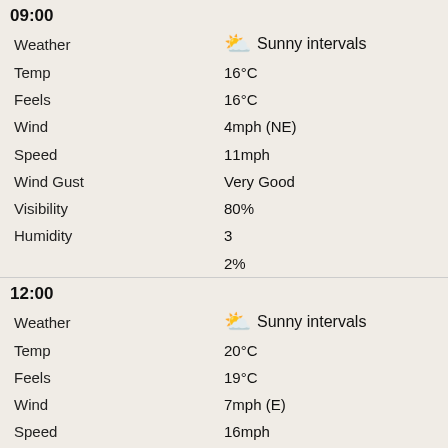09:00
| Field | Value |
| --- | --- |
| Weather | 🌤 Sunny intervals |
| Temp | 16°C |
| Feels | 16°C |
| Wind | 4mph (NE) |
| Speed | 11mph |
| Wind Gust | Very Good |
| Visibility | 80% |
| Humidity | 3 |
|  | 2% |
12:00
| Field | Value |
| --- | --- |
| Weather | 🌤 Sunny intervals |
| Temp | 20°C |
| Feels | 19°C |
| Wind | 7mph (E) |
| Speed | 16mph |
| Wind Gust | Very Good |
| Visibility | 61% |
| Humidity | 4 |
|  | 3% |
15:00
| Field | Value |
| --- | --- |
| Weather | 🌤 Sunny intervals |
| Temp | 21°C |
| Feels | 20°C |